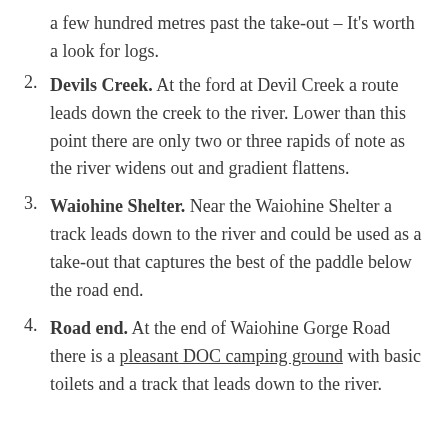a few hundred metres past the take-out – It's worth a look for logs.
2. Devils Creek. At the ford at Devil Creek a route leads down the creek to the river. Lower than this point there are only two or three rapids of note as the river widens out and gradient flattens.
3. Waiohine Shelter. Near the Waiohine Shelter a track leads down to the river and could be used as a take-out that captures the best of the paddle below the road end.
4. Road end. At the end of Waiohine Gorge Road there is a pleasant DOC camping ground with basic toilets and a track that leads down to the river.